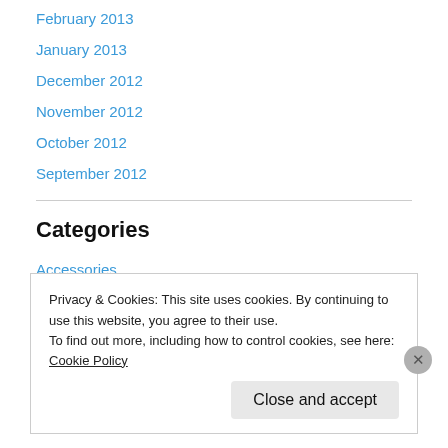February 2013
January 2013
December 2012
November 2012
October 2012
September 2012
Categories
Accessories
Antique and Vintage Accessories
Art Deco
Privacy & Cookies: This site uses cookies. By continuing to use this website, you agree to their use.
To find out more, including how to control cookies, see here: Cookie Policy
Close and accept